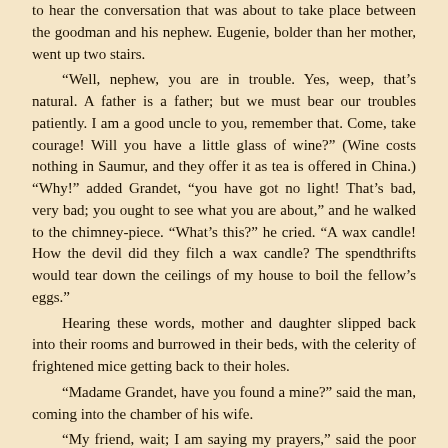to hear the conversation that was about to take place between the goodman and his nephew. Eugenie, bolder than her mother, went up two stairs.
“Well, nephew, you are in trouble. Yes, weep, that’s natural. A father is a father; but we must bear our troubles patiently. I am a good uncle to you, remember that. Come, take courage! Will you have a little glass of wine?” (Wine costs nothing in Saumur, and they offer it as tea is offered in China.) “Why!” added Grandet, “you have got no light! That’s bad, very bad; you ought to see what you are about,” and he walked to the chimney-piece. “What’s this?” he cried. “A wax candle! How the devil did they filch a wax candle? The spendthrifts would tear down the ceilings of my house to boil the fellow’s eggs.”
Hearing these words, mother and daughter slipped back into their rooms and burrowed in their beds, with the celerity of frightened mice getting back to their holes.
“Madame Grandet, have you found a mine?” said the man, coming into the chamber of his wife.
“My friend, wait; I am saying my prayers,” said the poor mother in a trembling voice.
“The devil take your good God!” growled Grandet in reply.
Misers have no belief in a future life; the present is their all in all. This thought casts a terrible light upon our present epoch, in which, far more than at any former period, money